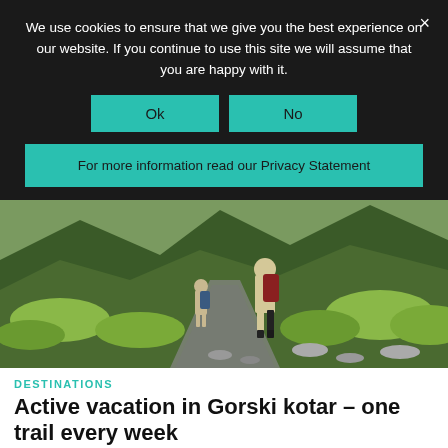We use cookies to ensure that we give you the best experience on our website. If you continue to use this site we will assume that you are happy with it.
Ok
No
For more information read our Privacy Statement
[Figure (photo): Two hikers with backpacks walking along a rocky mountain trail surrounded by green shrubs and hills]
DESTINATIONS
Active vacation in Gorski kotar – one trail every week
The Tourist Board of Gorski Kotar has prepared for its visitors an extremely simple and original presentation of hiking trails, reports